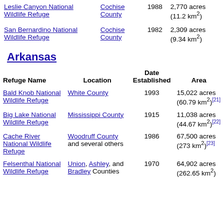| Refuge Name | Location | Date Established | Area |
| --- | --- | --- | --- |
| Leslie Canyon National Wildlife Refuge | Cochise County | 1988 | 2,770 acres (11.2 km²) |
| San Bernardino National Wildlife Refuge | Cochise County | 1982 | 2,309 acres (9.34 km²) |
Arkansas
| Refuge Name | Location | Date Established | Area |
| --- | --- | --- | --- |
| Bald Knob National Wildlife Refuge | White County | 1993 | 15,022 acres (60.79 km²)[21] |
| Big Lake National Wildlife Refuge | Mississippi County | 1915 | 11,038 acres (44.67 km²)[22] |
| Cache River National Wildlife Refuge | Woodruff County and several others | 1986 | 67,500 acres (273 km²)[23] |
| Felsenthal National Wildlife Refuge | Union, Ashley, and Bradley Counties | 1970 | 64,902 acres (262.65 km²) |